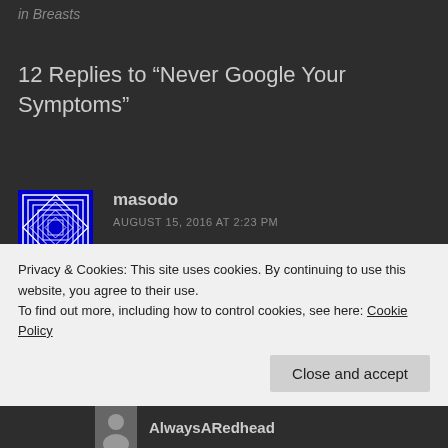in  Breasts
12 Replies to “Never Google Your Symptoms”
[Figure (illustration): Blue geometric square spiral avatar icon for user masodo]
masodo
AUGUST 15, 2016 AT 2:23 PM
I would have to classify a corkscrew duck penis video as one of those internet discoveries that once seen, cannot be unseen. Thanks for doing the legwork on this Catherine!
Privacy & Cookies: This site uses cookies. By continuing to use this website, you agree to their use.
To find out more, including how to control cookies, see here: Cookie Policy
Close and accept
AlwaysARedhead